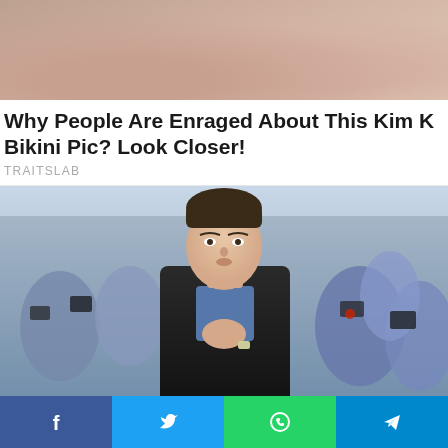[Figure (photo): Top portion of a photo showing upper body, skin tones visible - partial bikini photo]
Why People Are Enraged About This Kim K Bikini Pic? Look Closer!
TRAITSLAB
[Figure (photo): Photo of Gaspard Ulliel at what appears to be a press event, hands pressed together in prayer pose, surrounded by crowd of photographers]
Gaspard Ulliel Died At The Age Of 37 Following A
[Figure (other): Social media share bar with Facebook, Twitter, WhatsApp, and Telegram buttons]